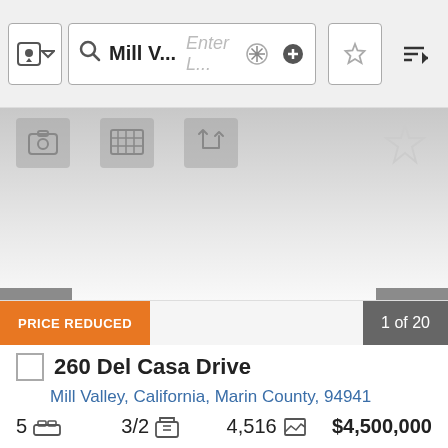[Figure (screenshot): Mobile app top search bar with shield icon, search field showing 'Mill V...', placeholder 'Enter L...', crosshair icon, plus icon, star/bookmark button, and sort icon]
[Figure (screenshot): Property listing image area with gray gradient background, icons for photo/map/directions at top left, star icon at top right, left and right navigation arrows, and a circular loading spinner in the center]
PRICE REDUCED
1 of 20
260 Del Casa Drive
Mill Valley, California, Marin County, 94941
5  3/2  4,516  $4,500,000